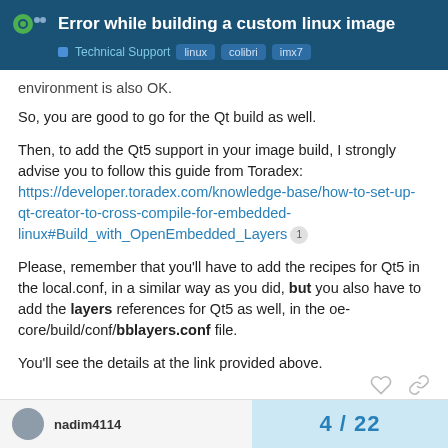Error while building a custom linux image | Technical Support linux colibri imx7
environment is also OK.
So, you are good to go for the Qt build as well.
Then, to add the Qt5 support in your image build, I strongly advise you to follow this guide from Toradex: https://developer.toradex.com/knowledge-base/how-to-set-up-qt-creator-to-cross-compile-for-embedded-linux#Build_with_OpenEmbedded_Layers
Please, remember that you'll have to add the recipes for Qt5 in the local.conf, in a similar way as you did, but you also have to add the layers references for Qt5 as well, in the oe-core/build/conf/bblayers.conf file.
You'll see the details at the link provided above.
nadim4114 | 4 / 22